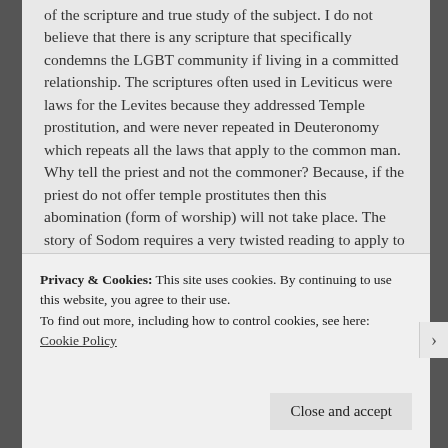of the scripture and true study of the subject. I do not believe that there is any scripture that specifically condemns the LGBT community if living in a committed relationship. The scriptures often used in Leviticus were laws for the Levites because they addressed Temple prostitution, and were never repeated in Deuteronomy which repeats all the laws that apply to the common man. Why tell the priest and not the commoner? Because, if the priest do not offer temple prostitutes then this abomination (form of worship) will not take place. The story of Sodom requires a very twisted reading to apply to homosexuality as the scripture states that all of the townspeople (read the Greek) came and wanted to know the men –
Privacy & Cookies: This site uses cookies. By continuing to use this website, you agree to their use.
To find out more, including how to control cookies, see here: Cookie Policy
Close and accept